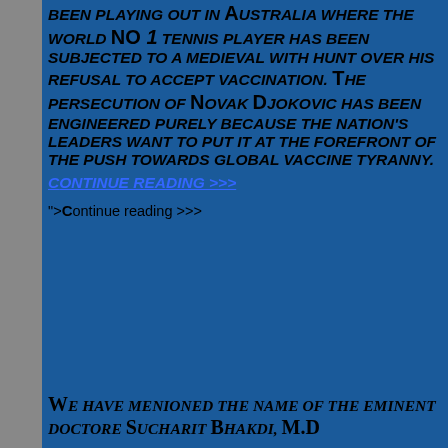BEEN PLAYING OUT IN AUSTRALIA WHERE THE WORLD No 1 TENNIS PLAYER HAS BEEN SUBJECTED TO A MEDIEVAL WITH HUNT OVER HIS REFUSAL TO ACCEPT VACCINATION. THE PERSECUTION OF NOVAK DJOKOVIC HAS BEEN ENGINEERED PURELY BECAUSE THE NATION'S LEADERS WANT TO PUT IT AT THE FOREFRONT OF THE PUSH TOWARDS GLOBAL VACCINE TYRANNY.
Continue reading >>>
">Continue reading >>>
WE HAVE MENIONED THE NAME OF THE EMINENT DOCTORE SUCHARIT BHAKDI, M.D